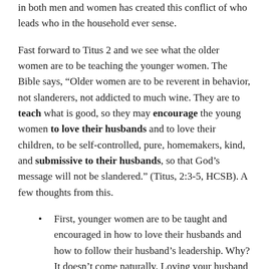in both men and women has created this conflict of who leads who in the household ever sense.
Fast forward to Titus 2 and we see what the older women are to be teaching the younger women. The Bible says, “Older women are to be reverent in behavior, not slanderers, not addicted to much wine. They are to teach what is good, so they may encourage the young women to love their husbands and to love their children, to be self-controlled, pure, homemakers, kind, and submissive to their husbands, so that God’s message will not be slandered.” (Titus, 2:3-5, HCSB). A few thoughts from this.
First, younger women are to be taught and encouraged in how to love their husbands and how to follow their husband’s leadership. Why? It doesn’t come naturally. Loving your husband and following his leadership is something you must be taught. It is learned.